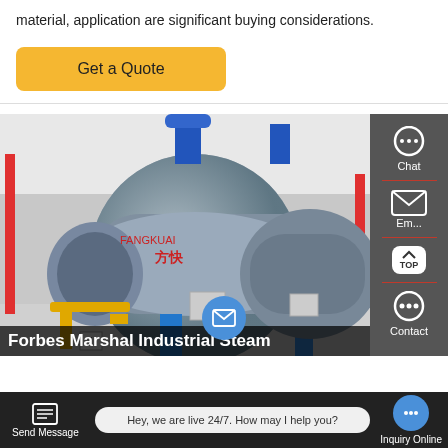material, application are significant buying considerations.
Get a Quote
[Figure (photo): Industrial steam boilers (large cylindrical horizontal boilers with red and yellow piping) manufactured by Fangkuai, arranged in a boiler room with blue exhaust pipes]
Forbes Marshal Industrial Steam
Chat
Email
Contact
Send Message
Hey, we are live 24/7. How may I help you?
Inquiry Online